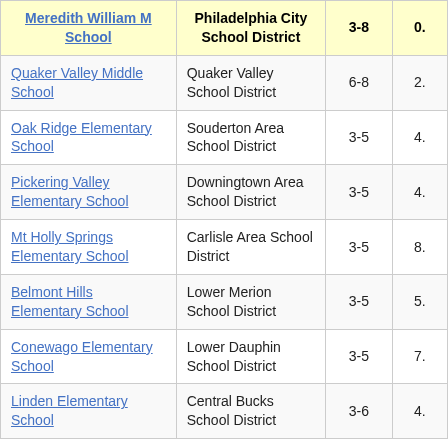| Meredith William M School | Philadelphia City School District | 3-8 | 0. |
| --- | --- | --- | --- |
| Quaker Valley Middle School | Quaker Valley School District | 6-8 | 2. |
| Oak Ridge Elementary School | Souderton Area School District | 3-5 | 4. |
| Pickering Valley Elementary School | Downingtown Area School District | 3-5 | 4. |
| Mt Holly Springs Elementary School | Carlisle Area School District | 3-5 | 8. |
| Belmont Hills Elementary School | Lower Merion School District | 3-5 | 5. |
| Conewago Elementary School | Lower Dauphin School District | 3-5 | 7. |
| Linden Elementary School | Central Bucks School District | 3-6 | 4. |